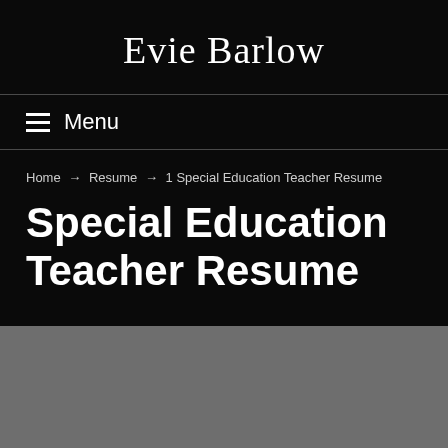Evie Barlow
≡ Menu
Home → Resume → 1 Special Education Teacher Resume
Special Education Teacher Resume